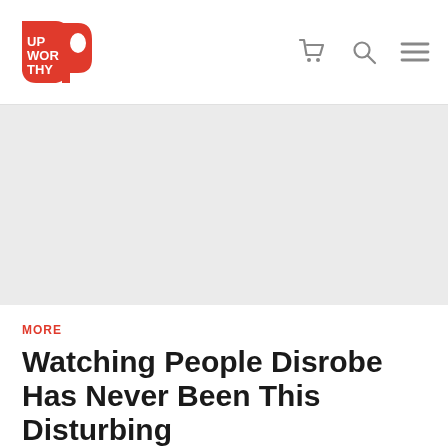Upworthy
[Figure (other): Gray advertisement placeholder area]
MORE
Watching People Disrobe Has Never Been This Disturbing
You'll be blown away by what's